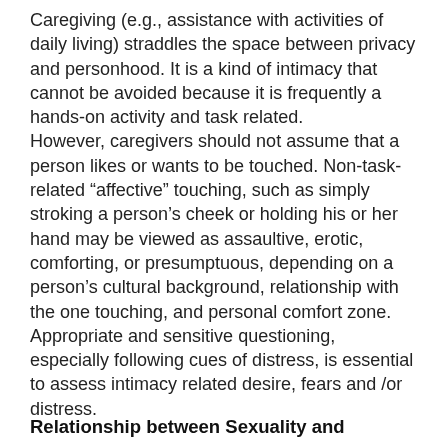Caregiving (e.g., assistance with activities of daily living) straddles the space between privacy and personhood. It is a kind of intimacy that cannot be avoided because it is frequently a hands-on activity and task related. However, caregivers should not assume that a person likes or wants to be touched. Non-task-related “affective” touching, such as simply stroking a person’s cheek or holding his or her hand may be viewed as assaultive, erotic, comforting, or presumptuous, depending on a person’s cultural background, relationship with the one touching, and personal comfort zone. Appropriate and sensitive questioning, especially following cues of distress, is essential to assess intimacy related desire, fears and /or distress.
Relationship between Sexuality and